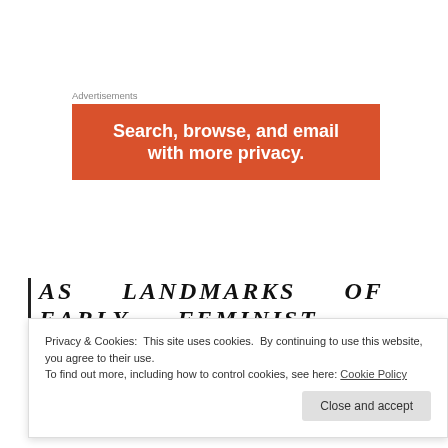Advertisements
[Figure (other): Orange advertisement banner with white bold text reading 'Search, browse, and email with more privacy.']
AS LANDMARKS OF EARLY FEMINIST
Privacy & Cookies: This site uses cookies. By continuing to use this website, you agree to their use.
To find out more, including how to control cookies, see here: Cookie Policy
Close and accept
ROMANCE NOVEL AND GIRLS MAGAZINE(S), ARE VILIFIED AS COMPLICATED AND